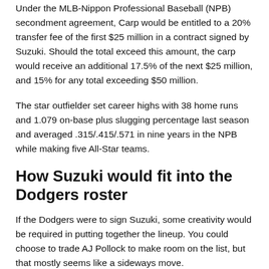Under the MLB-Nippon Professional Baseball (NPB) secondment agreement, Carp would be entitled to a 20% transfer fee of the first $25 million in a contract signed by Suzuki. Should the total exceed this amount, the carp would receive an additional 17.5% of the next $25 million, and 15% for any total exceeding $50 million.
The star outfielder set career highs with 38 home runs and 1.079 on-base plus slugging percentage last season and averaged .315/.415/.571 in nine years in the NPB while making five All-Star teams.
How Suzuki would fit into the Dodgers roster
If the Dodgers were to sign Suzuki, some creativity would be required in putting together the lineup. You could choose to trade AJ Pollock to make room on the list, but that mostly seems like a sideways move.